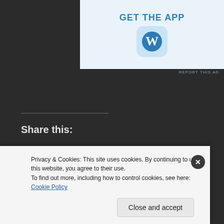[Figure (screenshot): WordPress app advertisement banner with 'GET THE APP' text and WordPress logo icon]
REPORT THIS AD
Share this:
Twitter
Facebook
Like
Be the first to like this.
Privacy & Cookies: This site uses cookies. By continuing to use this website, you agree to their use.
To find out more, including how to control cookies, see here: Cookie Policy
Close and accept